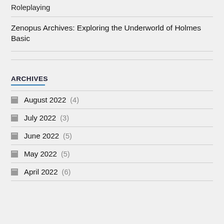Roleplaying
Zenopus Archives: Exploring the Underworld of Holmes Basic
ARCHIVES
August 2022 (4)
July 2022 (3)
June 2022 (5)
May 2022 (5)
April 2022 (6)